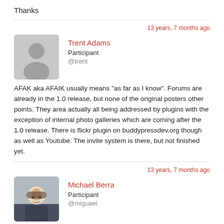Thanks
13 years, 7 months ago
Trent Adams
Participant
@trent
AFAK aka AFAIK usually means “as far as I know”. Forums are already in the 1.0 release, but none of the original posters other points. They area actually all being addressed by plugins with the exception of internal photo galleries which are coming after the 1.0 release. There is flickr plugin on buddypressdev.org though as well as Youtube. The invite system is there, but not finished yet.
13 years, 7 months ago
Michael Berra
Participant
@miguael
Trent, is there a possibility to have another page as homepage as BP...